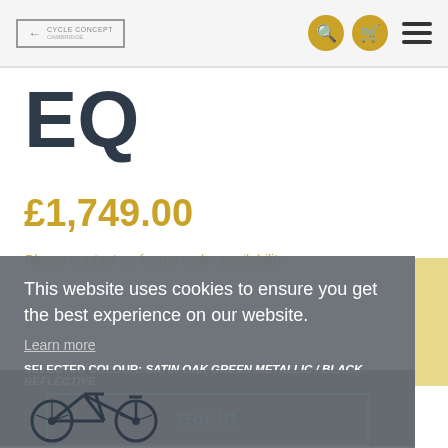Cycle Concept
EQ
£1,749.00
Please contact us for pre order availability
This website uses cookies to ensure you get the best experience on our website.
Learn more
SELECTED COLOUR: SATIN OAK GREEN METALLIC / BLACK REFLECTIVE
Got it!